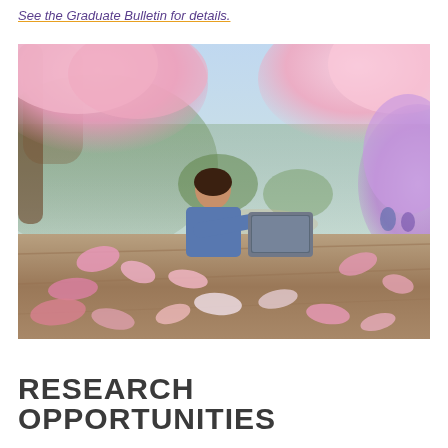See the Graduate Bulletin for details.
[Figure (photo): A student sitting at an outdoor picnic table with a laptop, working amid fallen flower petals, with blooming cherry and magnolia trees in the background on a university campus in spring.]
RESEARCH OPPORTUNITIES